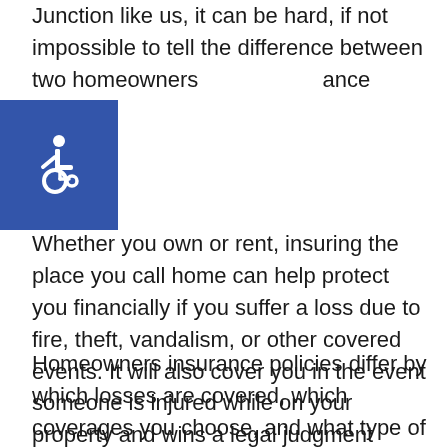Junction like us, it can be hard, if not impossible to tell the difference between two homeowners insurance policies.
[Figure (illustration): Blue square with white wheelchair accessibility icon]
Whether you own or rent, insuring the place you call home can help protect you financially if you suffer a loss due to fire, theft, vandalism, or other covered events. It will also cover you in the event someone is injured while on your property and wins a legal judgment against you.
Homeowners insurance policies differ by which losses are covered, which coverages you choose, and what type of residence you own. You choose which policy is best for you, whether it's a comprehensive policy that covers losses such as fire, hail, smoke, falling objects, vandalism and theft of personal